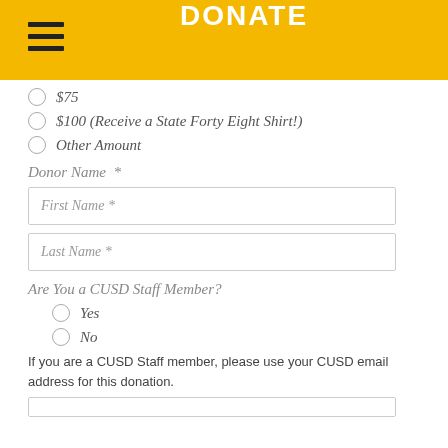DONATE
$75
$100 (Receive a State Forty Eight Shirt!)
Other Amount
Donor Name *
First Name *
Last Name *
Are You a CUSD Staff Member?
Yes
No
If you are a CUSD Staff member, please use your CUSD email address for this donation.